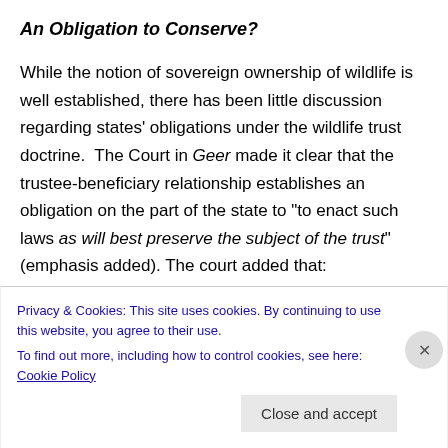An Obligation to Conserve?
While the notion of sovereign ownership of wildlife is well established, there has been little discussion regarding states' obligations under the wildlife trust doctrine.  The Court in Geer made it clear that the trustee-beneficiary relationship establishes an obligation on the part of the state to "to enact such laws as will best preserve the subject of the trust" (emphasis added). The court added that:
Privacy & Cookies: This site uses cookies. By continuing to use this website, you agree to their use.
To find out more, including how to control cookies, see here: Cookie Policy